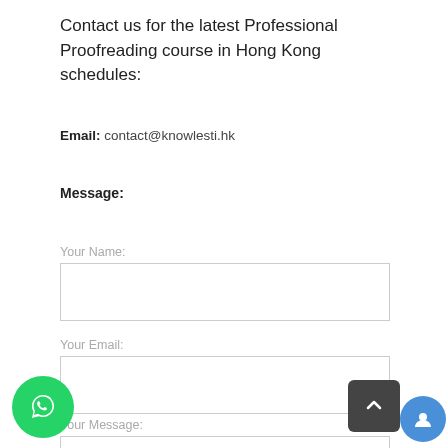Contact us for the latest Professional Proofreading course in Hong Kong schedules:
Email: contact@knowlesti.hk
Message:
Your Name:
Your Email:
Your Message: